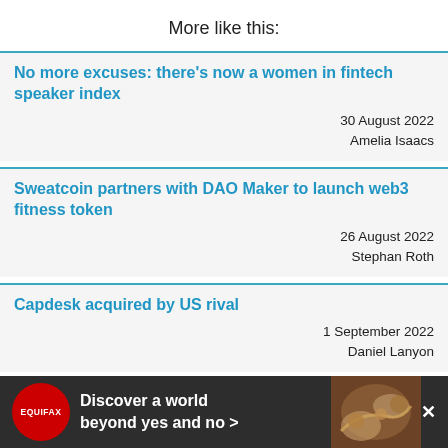More like this:
No more excuses: there’s now a women in fintech speaker index
30 August 2022
Amelia Isaacs
Sweatcoin partners with DAO Maker to launch web3 fitness token
26 August 2022
Stephan Roth
Capdesk acquired by US rival
1 September 2022
Daniel Lanyon
Lo... t Kl... tried in the first half of 2022
...ber 2022
McCurdy
[Figure (other): Equifax advertisement banner: red circular logo with EQUIFAX text, dark background with text 'Discover a world beyond yes and no >' and close button, decorative image of hands on right side]